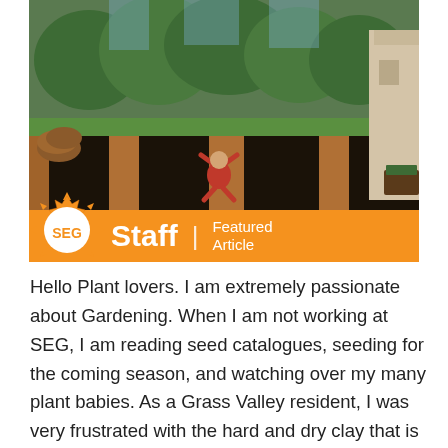[Figure (photo): Outdoor garden scene with rows of dark soil mulch beds alternating with wood chip paths, a person sitting among the beds, trees in background, and a house visible on the right. Orange banner overlay at bottom reads 'SEG Staff | Featured Article' with a sun logo.]
Hello Plant lovers. I am extremely passionate about Gardening. When I am not working at SEG, I am reading seed catalogues, seeding for the coming season, and watching over my many plant babies. As a Grass Valley resident, I was very frustrated with the hard and dry clay that is native here. This is when I